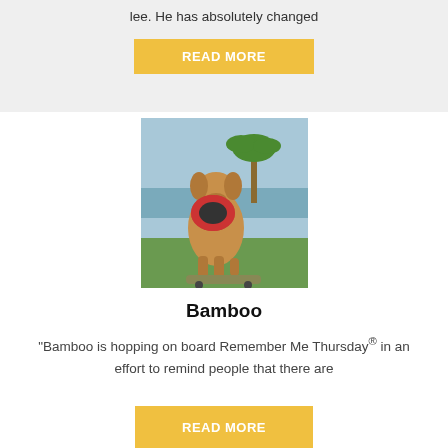lee. He has absolutely changed
READ MORE
[Figure (photo): A tan/brown dog standing on a skateboard holding a red frisbee in its mouth, with palm trees and ocean in the background.]
Bamboo
"Bamboo is hopping on board Remember Me Thursday® in an effort to remind people that there are
READ MORE